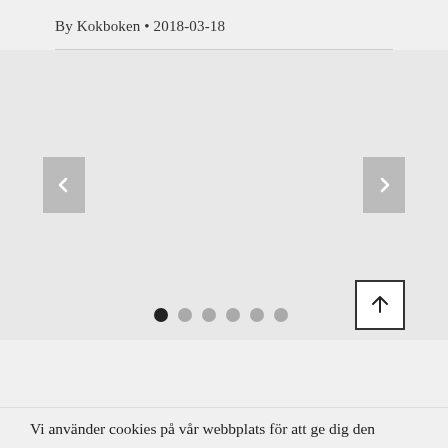By Kokboken • 2018-03-18
[Figure (screenshot): Image carousel/slider area with left and right navigation arrow buttons (gray rectangles), six pagination dots at the bottom (first dot filled dark, rest gray), and an up-arrow button in the bottom right corner.]
Vi använder cookies på vår webbplats för att ge dig den